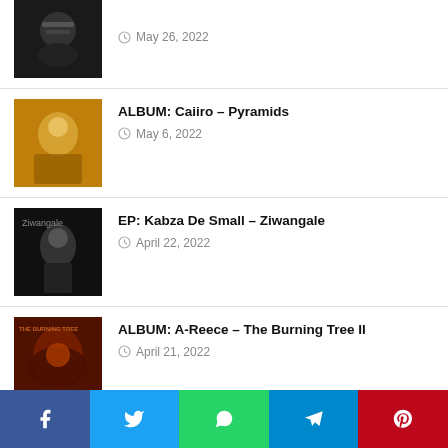May 26, 2022
ALBUM: Caiiro – Pyramids
May 6, 2022
EP: Kabza De Small – Ziwangale
April 22, 2022
ALBUM: A-Reece – The Burning Tree II
April 21, 2022
ALBUM: A-Reece – The Burning Tree